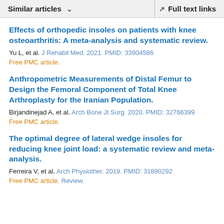Similar articles   ∨   Full text links
Effects of orthopedic insoles on patients with knee osteoarthritis: A meta-analysis and systematic review.
Yu L, et al. J Rehabil Med. 2021. PMID: 33904586
Free PMC article.
Anthropometric Measurements of Distal Femur to Design the Femoral Component of Total Knee Arthroplasty for the Iranian Population.
Birjandinejad A, et al. Arch Bone Jt Surg. 2020. PMID: 32766399
Free PMC article.
The optimal degree of lateral wedge insoles for reducing knee joint load: a systematic review and meta-analysis.
Ferreira V, et al. Arch Physiother. 2019. PMID: 31890292
Free PMC article. Review.